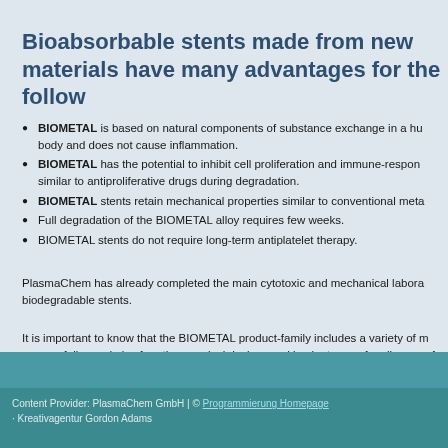Bioabsorbable stents made from new materials have many advantages for the following reasons:
BIOMETAL is based on natural components of substance exchange in a human body and does not cause inflammation.
BIOMETAL has the potential to inhibit cell proliferation and immune-response similar to antiproliferative drugs during degradation.
BIOMETAL stents retain mechanical properties similar to conventional metal stents.
Full degradation of the BIOMETAL alloy requires few weeks.
BIOMETAL stents do not require long-term antiplatelet therapy.
PlasmaChem has already completed the main cytotoxic and mechanical laboratory tests for biodegradable stents.
It is important to know that the BIOMETAL product-family includes a variety of materials that can be successfully used also for other surgical devices and implants, e.g. for clips, screws for fixation of broken bones and as cosmetic implants to change the shape of tissues through.
Content Provider: PlasmaChem GmbH | © Programmierung Homepage
· Kreativagentur Gordon Adams